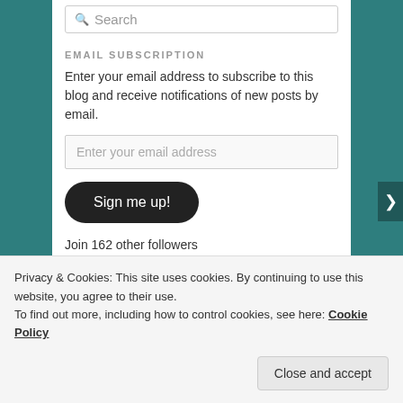[Figure (screenshot): Search input box with magnifying glass icon and placeholder text 'Search']
EMAIL SUBSCRIPTION
Enter your email address to subscribe to this blog and receive notifications of new posts by email.
[Figure (screenshot): Email input field with placeholder text 'Enter your email address']
[Figure (screenshot): Dark rounded button labeled 'Sign me up!']
Join 162 other followers
CATEGORIES
Privacy & Cookies: This site uses cookies. By continuing to use this website, you agree to their use.
To find out more, including how to control cookies, see here: Cookie Policy
[Figure (screenshot): Close and accept button]